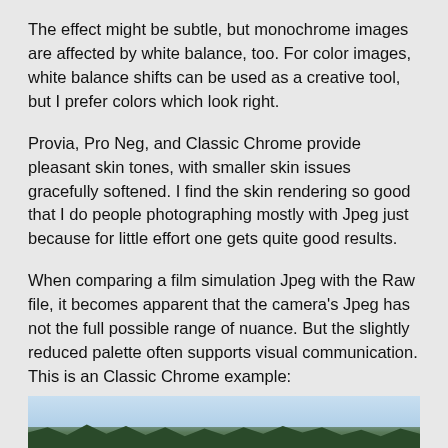The effect might be subtle, but monochrome images are affected by white balance, too. For color images, white balance shifts can be used as a creative tool, but I prefer colors which look right.
Provia, Pro Neg, and Classic Chrome provide pleasant skin tones, with smaller skin issues gracefully softened. I find the skin rendering so good that I do people photographing mostly with Jpeg just because for little effort one gets quite good results.
When comparing a film simulation Jpeg with the Raw file, it becomes apparent that the camera's Jpeg has not the full possible range of nuance. But the slightly reduced palette often supports visual communication. This is an Classic Chrome example:
[Figure (photo): Bottom portion of a photograph showing tree branches with leaves against a blue sky, Classic Chrome film simulation example.]